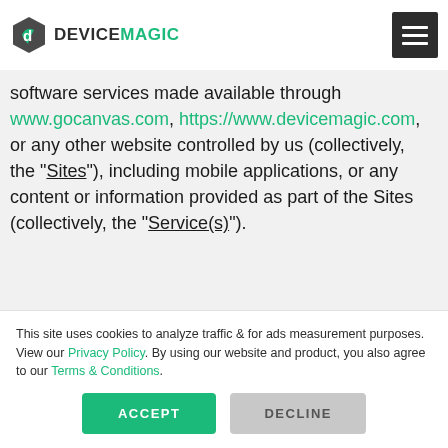[Figure (logo): Device Magic logo with hexagon icon and text 'DEVICEMAGIC']
use of the software services set forth in the Ordering Document (as defined below) executed by us and incorporating these Terms, or if you have not executed an Ordering Document, your use of the software services made available through www.gocanvas.com, https://www.devicemagic.com, or any other website controlled by us (collectively, the "Sites"), including mobile applications, or any content or information provided as part of the Sites (collectively, the "Service(s)").
This site uses cookies to analyze traffic & for ads measurement purposes. View our Privacy Policy. By using our website and product, you also agree to our Terms & Conditions.